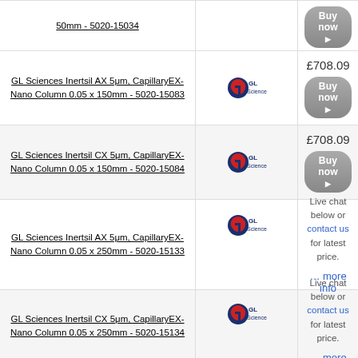50mm - 5020-15034
GL Sciences Inertsil AX 5μm, CapillaryEX-Nano Column 0.05 x 150mm - 5020-15083, £708.09
GL Sciences Inertsil CX 5μm, CapillaryEX-Nano Column 0.05 x 150mm - 5020-15084, £708.09
GL Sciences Inertsil AX 5μm, CapillaryEX-Nano Column 0.05 x 250mm - 5020-15133, Live chat below or contact us for latest price.
GL Sciences Inertsil CX 5μm, CapillaryEX-Nano Column 0.05 x 250mm - 5020-15134, Live chat below or contact us for latest price.